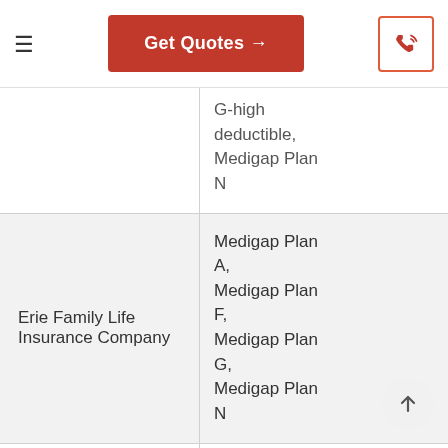Get Quotes →
| Company | Plans Available |
| --- | --- |
|  | G-high deductible, Medigap Plan N |
| Erie Family Life Insurance Company | Medigap Plan A, Medigap Plan F, Medigap Plan G, Medigap Plan N |
|  | Medigap Plan A, Medigap Plan C |